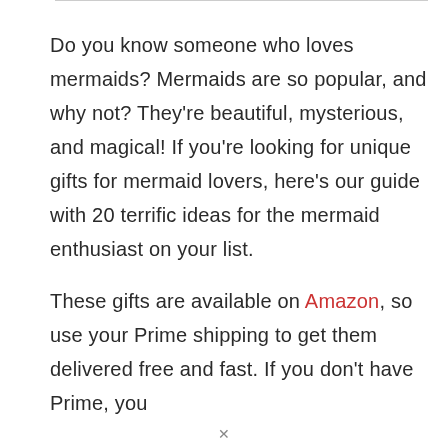Do you know someone who loves mermaids? Mermaids are so popular, and why not? They're beautiful, mysterious, and magical! If you're looking for unique gifts for mermaid lovers, here's our guide with 20 terrific ideas for the mermaid enthusiast on your list.

These gifts are available on Amazon, so use your Prime shipping to get them delivered free and fast. If you don't have Prime, you